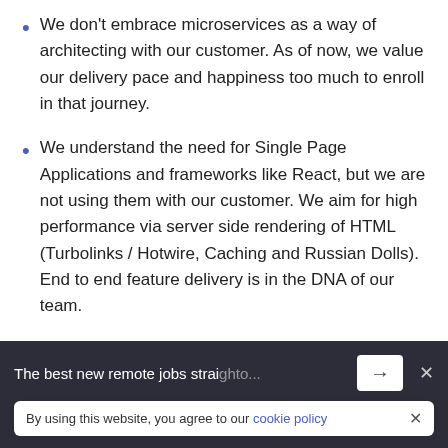We don't embrace microservices as a way of architecting with our customer. As of now, we value our delivery pace and happiness too much to enroll in that journey.
We understand the need for Single Page Applications and frameworks like React, but we are not using them with our customer. We aim for high performance via server side rendering of HTML (Turbolinks / Hotwire, Caching and Russian Dolls). End to end feature delivery is in the DNA of our team.
We have many exciting challenges in front of us and we plan to face them with a small team of highly [cut off] software development.
The best new remote jobs straight [cut off]
By using this website, you agree to our cookie policy